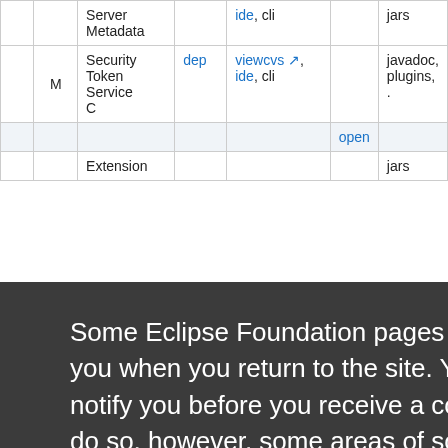|  |  | Name | dep | Source |  | Downloads |
| --- | --- | --- | --- | --- | --- | --- |
|  |  | Server Metadata |  | ide, cli |  | jars |
| M |  | Security Token Service C… | dep | viewcvs, ide, cli |  | javadoc, plugins, … |
|  |  |  |  | open… |  |  |
|  |  | Extension |  |  |  | jars |
Some Eclipse Foundation pages use cookies to better serve you when you return to the site. You can set your browser to notify you before you receive a cookie or turn off cookies. If you do so, however, some areas of some sites may not function properly. To read Eclipse Foundation Privacy Policy click here.